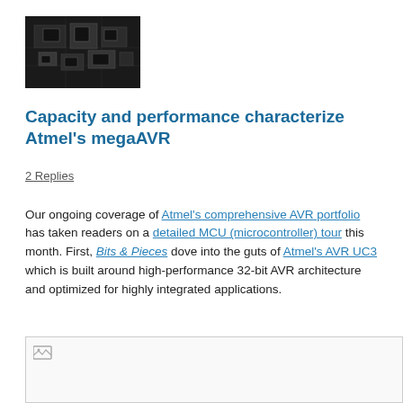[Figure (photo): Close-up photo of a printed circuit board with microcontroller chips, dark background]
Capacity and performance characterize Atmel's megaAVR
2 Replies
Our ongoing coverage of Atmel's comprehensive AVR portfolio has taken readers on a detailed MCU (microcontroller) tour this month. First, Bits & Pieces dove into the guts of Atmel's AVR UC3 which is built around high-performance 32-bit AVR architecture and optimized for highly integrated applications.
[Figure (photo): Broken/loading image placeholder at bottom of page]